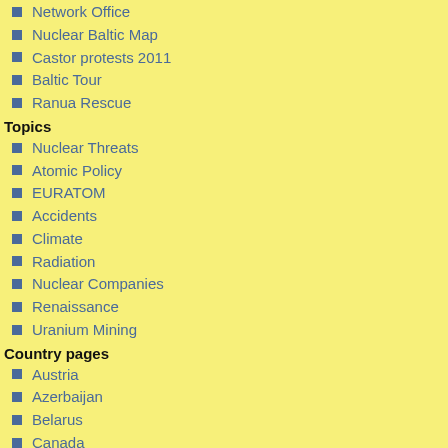Network Office
Nuclear Baltic Map
Castor protests 2011
Baltic Tour
Ranua Rescue
Topics
Nuclear Threats
Atomic Policy
EURATOM
Accidents
Climate
Radiation
Nuclear Companies
Renaissance
Uranium Mining
Country pages
Austria
Azerbaijan
Belarus
Canada
Finland
Germany
Latvia
Russia
Slovakia